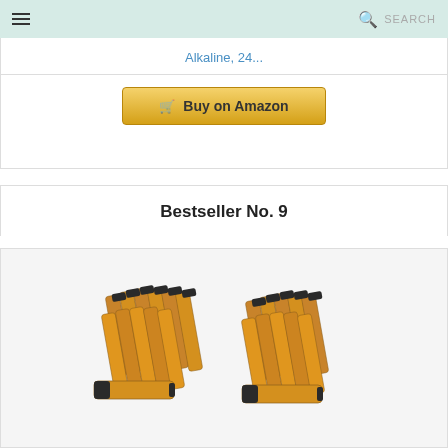Menu | SEARCH
Alkaline, 24...
Buy on Amazon
Bestseller No. 9
[Figure (photo): Two groups of AA alkaline batteries (gold/orange colored, approximately 48 batteries total) arranged in bundles on a white background.]